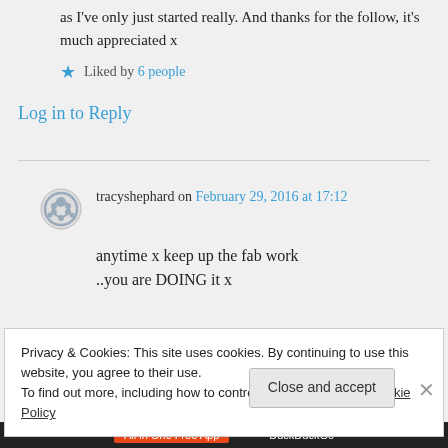as I've only just started really. And thanks for the follow, it's much appreciated x
★ Liked by 6 people
Log in to Reply
tracyshephard on February 29, 2016 at 17:12
anytime x keep up the fab work ..you are DOING it x
Privacy & Cookies: This site uses cookies. By continuing to use this website, you agree to their use.
To find out more, including how to control cookies, see here: Cookie Policy